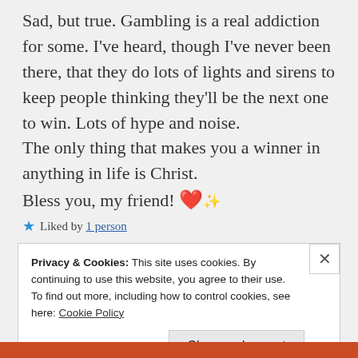Sad, but true. Gambling is a real addiction for some. I've heard, though I've never been there, that they do lots of lights and sirens to keep people thinking they'll be the next one to win. Lots of hype and noise.
The only thing that makes you a winner in anything in life is Christ.
Bless you, my friend! 💖
★ Liked by 1 person
Privacy & Cookies: This site uses cookies. By continuing to use this website, you agree to their use.
To find out more, including how to control cookies, see here: Cookie Policy
Close and accept